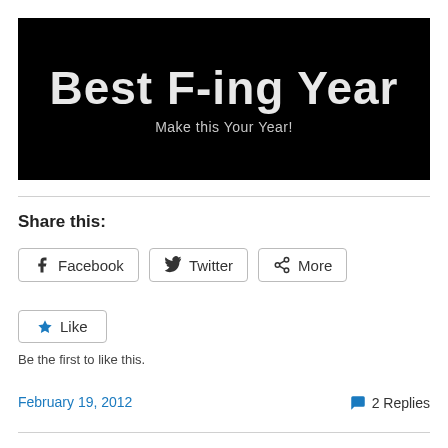[Figure (illustration): Black banner image with large white bold text 'Best F-ing Year' and subtitle 'Make this Your Year!']
Share this:
Facebook  Twitter  More
Like
Be the first to like this.
February 19, 2012
2 Replies